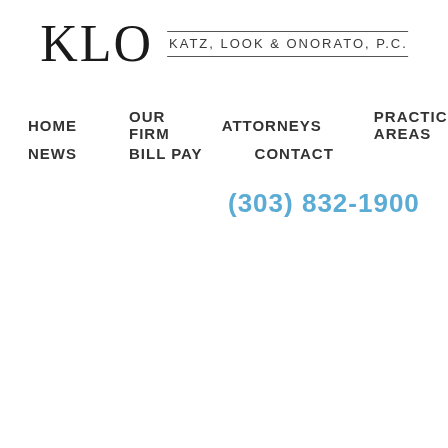KLO  KATZ, LOOK & ONORATO, P.C.
HOME
OUR FIRM
ATTORNEYS
PRACTICE AREAS
NEWS
BILL PAY
CONTACT
(303) 832-1900